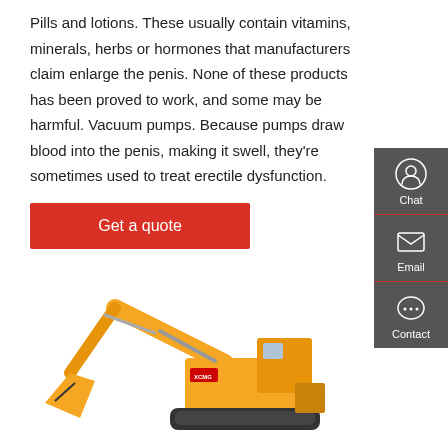Pills and lotions. These usually contain vitamins, minerals, herbs or hormones that manufacturers claim enlarge the penis. None of these products has been proved to work, and some may be harmful. Vacuum pumps. Because pumps draw blood into the penis, making it swell, they're sometimes used to treat erectile dysfunction.
[Figure (other): Red 'Get a quote' button]
[Figure (other): Dark grey sidebar with Chat, Email, and Contact icons]
[Figure (photo): Yellow XCMG excavator/crawler crane on white background]